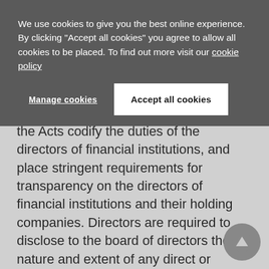We use cookies to give you the best online experience. By clicking "Accept all cookies" you agree to allow all cookies to be placed. To find out more visit our cookie policy
Manage cookies
Accept all cookies
the Acts codify the duties of the directors of financial institutions, and place stringent requirements for transparency on the directors of financial institutions and their holding companies. Directors are required to disclose to the board of directors the nature and extent of any direct or indirect interest in a material transaction or material arrangement with the financial institution where they hold office. Further, under the Acts, the approval of the BNM is required for